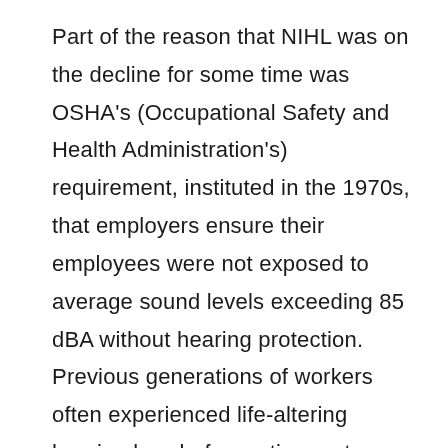Part of the reason that NIHL was on the decline for some time was OSHA's (Occupational Safety and Health Administration's) requirement, instituted in the 1970s, that employers ensure their employees were not exposed to average sound levels exceeding 85 dBA without hearing protection. Previous generations of workers often experienced life-altering hearing loss before retirement age. Even if the noise on the factory floor wasn't terribly loud—though it often was—it would add up to hearing loss over the course of a workday.